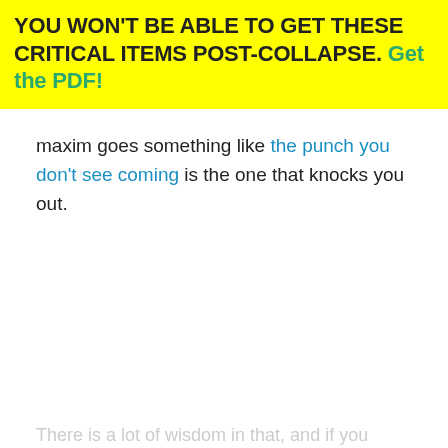YOU WON'T BE ABLE TO GET THESE CRITICAL ITEMS POST-COLLAPSE. Get the PDF!
maxim goes something like the punch you don't see coming is the one that knocks you out.
There is a lot of wisdom in that, and if you